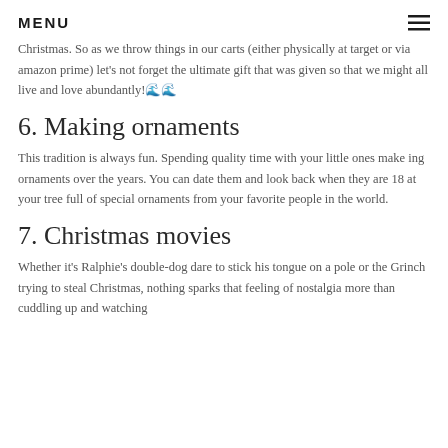MENU
Christmas. So as we throw things in our carts (either physically at target or via amazon prime) let’s not forget the ultimate gift that was given so that we might all live and love abundantly!🌊🌊
6. Making ornaments
This tradition is always fun. Spending quality time with your little ones make ing ornaments over the years. You can date them and look back when they are 18 at your tree full of special ornaments from your favorite people in the world.
7. Christmas movies
Whether it’s Ralphie’s double-dog dare to stick his tongue on a pole or the Grinch trying to steal Christmas, nothing sparks that feeling of nostalgia more than cuddling up and watching